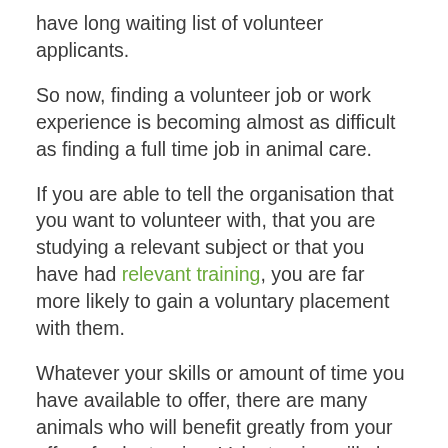have long waiting list of volunteer applicants.
So now, finding a volunteer job or work experience is becoming almost as difficult as finding a full time job in animal care.
If you are able to tell the organisation that you want to volunteer with, that you are studying a relevant subject or that you have had relevant training, you are far more likely to gain a voluntary placement with them.
Whatever your skills or amount of time you have available to offer, there are many animals who will benefit greatly from your offer of volunteering. Volunteering will also give you valuable work experience and will improve your chances of employment within the animal care